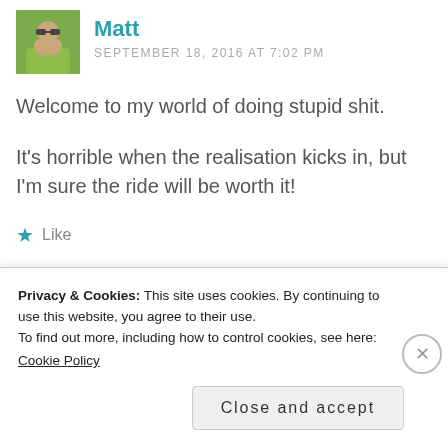Matt — SEPTEMBER 18, 2016 AT 7:02 PM
Welcome to my world of doing stupid shit.
It's horrible when the realisation kicks in, but I'm sure the ride will be worth it!
★ Like
Privacy & Cookies: This site uses cookies. By continuing to use this website, you agree to their use.
To find out more, including how to control cookies, see here:
Cookie Policy
Close and accept